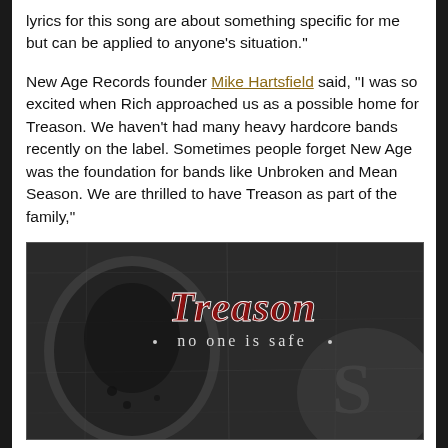lyrics for this song are about something specific for me but can be applied to anyone's situation."
New Age Records founder Mike Hartsfield said, “I was so excited when Rich approached us as a possible home for Treason. We haven’t had many heavy hardcore bands recently on the label. Sometimes people forget New Age was the foundation for bands like Unbroken and Mean Season. We are thrilled to have Treason as part of the family,"
[Figure (photo): Black and white album cover image for Treason 'no one is safe' showing shadowy figures with the band name in gothic/blackletter font and subtitle 'no one is safe' below it.]